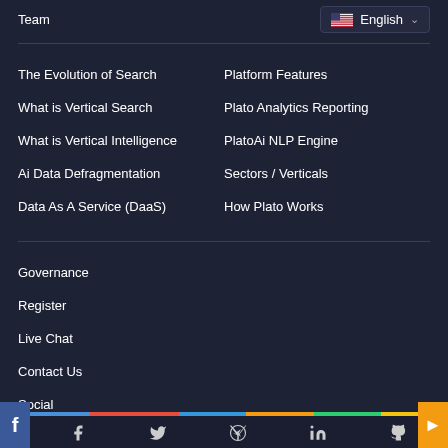Team
English
The Evolution of Search
Platform Features
What is Vertical Search
Plato Analytics Reporting
What is Vertical Intelligence
PlatoAi NLP Engine
Ai Data Defragmentation
Sectors / Verticals
Data As A Service (DaaS)
How Plato Works
Governance
Register
Live Chat
Contact Us
Social
Social media icons: Facebook, Twitter, Telegram, LinkedIn, GitHub